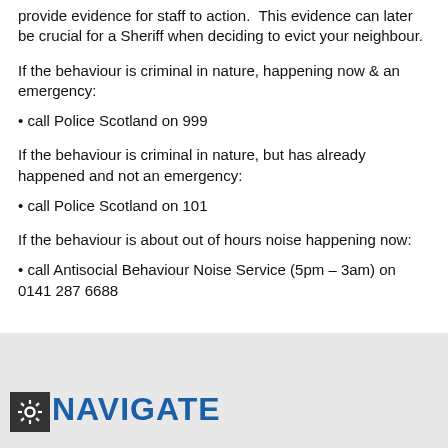provide evidence for staff to action. This evidence can later be crucial for a Sheriff when deciding to evict your neighbour.
If the behaviour is criminal in nature, happening now & an emergency:
• call Police Scotland on 999
If the behaviour is criminal in nature, but has already happened and not an emergency:
• call Police Scotland on 101
If the behaviour is about out of hours noise happening now:
• call Antisocial Behaviour Noise Service (5pm – 3am) on 0141 287 6688
NAVIGATE